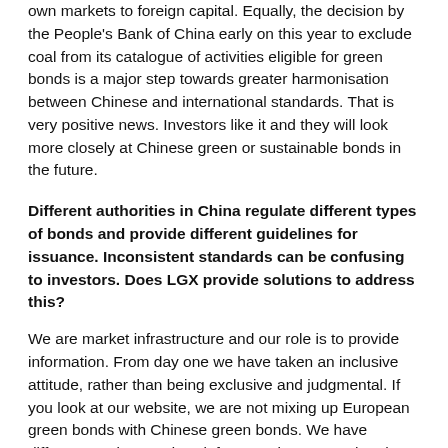own markets to foreign capital. Equally, the decision by the People's Bank of China early on this year to exclude coal from its catalogue of activities eligible for green bonds is a major step towards greater harmonisation between Chinese and international standards. That is very positive news. Investors like it and they will look more closely at Chinese green or sustainable bonds in the future.
Different authorities in China regulate different types of bonds and provide different guidelines for issuance. Inconsistent standards can be confusing to investors. Does LGX provide solutions to address this?
We are market infrastructure and our role is to provide information. From day one we have taken an inclusive attitude, rather than being exclusive and judgmental. If you look at our website, we are not mixing up European green bonds with Chinese green bonds. We have different sections and we inform our investors what the different standards are. It's up to them to decide on their preferences, based on the information we provide.